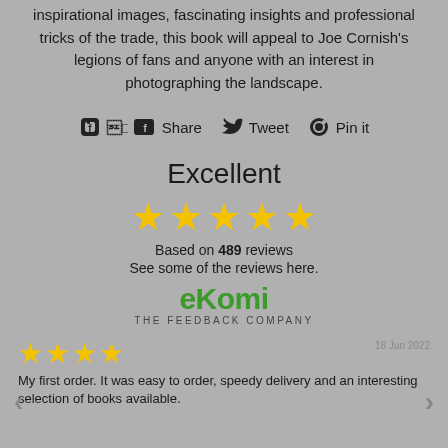inspirational images, fascinating insights and professional tricks of the trade, this book will appeal to Joe Cornish's legions of fans and anyone with an interest in photographing the landscape.
Share  Tweet  Pin it
Excellent
[Figure (infographic): Five yellow stars rating]
Based on 489 reviews
See some of the reviews here.
[Figure (logo): eKomi - THE FEEDBACK COMPANY logo in green]
[Figure (infographic): Four yellow stars rating for a customer review]
My first order. It was easy to order, speedy delivery and an interesting selection of books available.